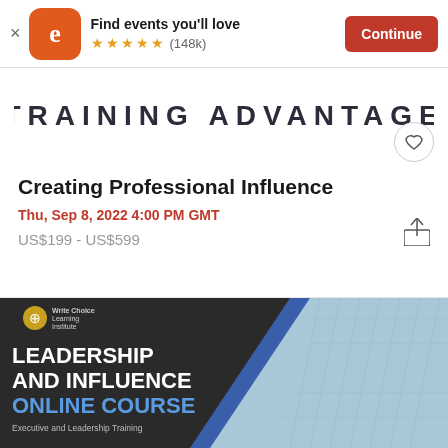Find events you'll love ★★★★★ (148k) Continue
[Figure (screenshot): Training Advantage banner strip with heart/favorite button]
Creating Professional Influence
Thu, Sep 8, 2022 4:00 PM GMT
US$199 - US$599
[Figure (illustration): Write Choice Learning Institute - Leadership and Influence Online Course - Executive and Leadership Training promotional image with building background]